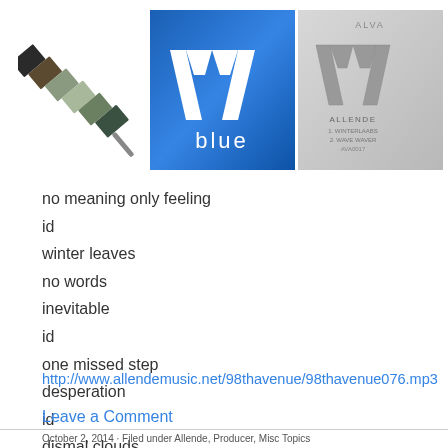[Figure (illustration): Three images in a row: a diagonal color swatch strip with dark/muted colors, an AVA blue album cover with blue gradient background and white AVA logo and 'blue' text, and a gray AVA Allende album cover with silver/gray gradient.]
no meaning only feeling
id
winter leaves
no words
inevitable
id
one missed step
desperation
id
dismal clouds
veracity
http://www.allendemusic.net/98thavenue/98thavenue076.mp3
Leave a Comment
October 2, 2014 · Filed under Allende, Producer, Misc Topics